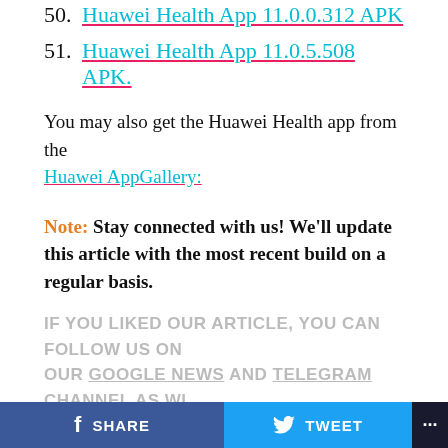50. Huawei Health App 11.0.0.312 APK
51. Huawei Health App 11.0.5.508 APK.
You may also get the Huawei Health app from the Huawei AppGallery:
Note: Stay connected with us! We’ll update this article with the most recent build on a regular basis.
IF YOU LIKED OUR ARTICLE, YOU CAN FOLLOW US ON OUR GOOGLE NEWS AND TELEGRAM CHANNEL AS WI...
CONTINUE READING
APPS
[Update August 27] Google Play
SHARE
TWEET